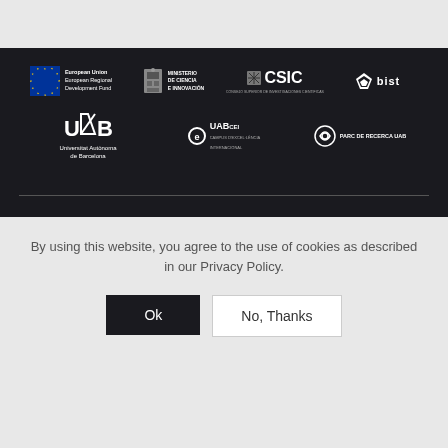[Figure (logo): Dark background sponsor logos section featuring: European Union European Regional Development Fund, Ministerio de Ciencia e Innovación, CSIC (Consejo Superior de Investigaciones Científicas), bist logo, UAB (Universitat Autònoma de Barcelona) large text, eUABCEI Campus Excelencia Internacional, and Parc de Recerca UAB logos arranged in two rows on a dark background with a horizontal separator line.]
By using this website, you agree to the use of cookies as described in our Privacy Policy.
Ok
No, Thanks